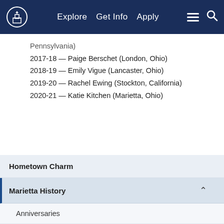Explore  Get Info  Apply
Pennsylvania)
2017-18 — Paige Berschet (London, Ohio)
2018-19 — Emily Vigue (Lancaster, Ohio)
2019-20 — Rachel Ewing (Stockton, California)
2020-21 — Katie Kitchen (Marietta, Ohio)
Hometown Charm
Marietta History
Anniversaries
Community